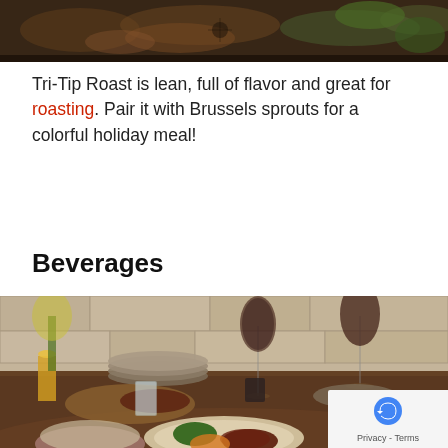[Figure (photo): Top portion of a roasting pan with meat and Brussels sprouts, cropped at the bottom of the image.]
Tri-Tip Roast is lean, full of flavor and great for roasting. Pair it with Brussels sprouts for a colorful holiday meal!
Beverages
[Figure (photo): A dining table set with plates of sliced beef roast, broccoli, mashed sweet potatoes, wine glasses with red wine, water glasses, stacked plates, a wooden cutting board with sliced meat, flowers, and a stone wall background. A privacy/reCAPTCHA badge is visible in the lower right corner.]